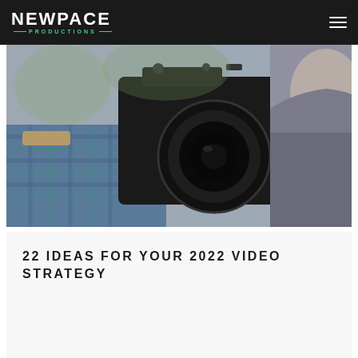NEWPACE PRODUCTIONS
[Figure (photo): A person operating a professional camera/DSLR from behind, with another person visible on the right side, bokeh background]
22 IDEAS FOR YOUR 2022 VIDEO STRATEGY